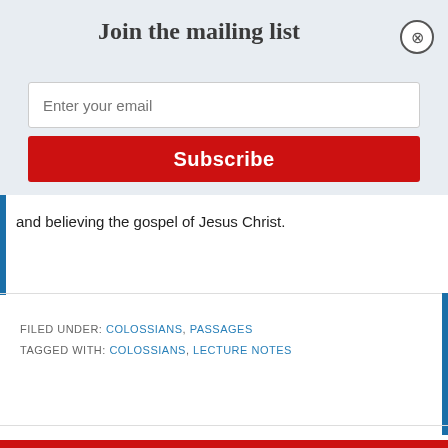Join the mailing list
Enter your email
Subscribe
and believing the gospel of Jesus Christ.
FILED UNDER: COLOSSIANS, PASSAGES
TAGGED WITH: COLOSSIANS, LECTURE NOTES
1  2  Next Page »